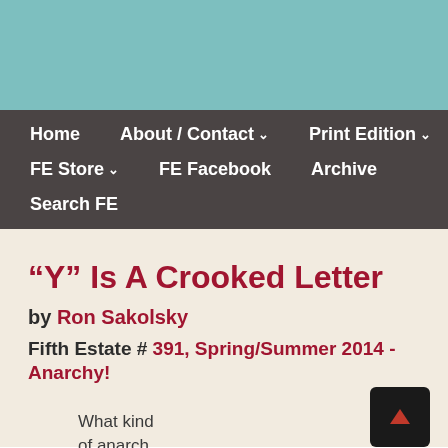Home | About / Contact | Print Edition | FE Store | FE Facebook | Archive | Search FE
“Y” Is A Crooked Letter
by Ron Sakolsky
Fifth Estate # 391, Spring/Summer 2014 - Anarchy!
What kind of anarch